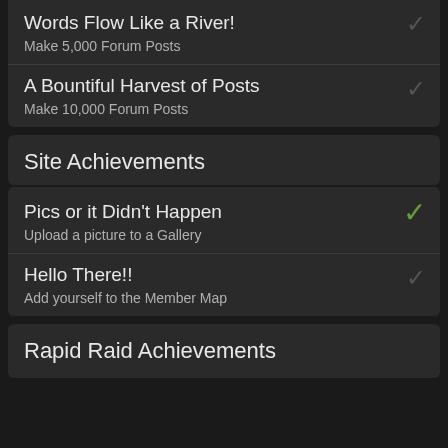Words Flow Like a River!
Make 5,000 Forum Posts
A Bountiful Harvest of Posts
Make 10,000 Forum Posts
Site Achievements
Pics or it Didn't Happen
Upload a picture to a Gallery
Hello There!!
Add yourself to the Member Map
Rapid Raid Achievements